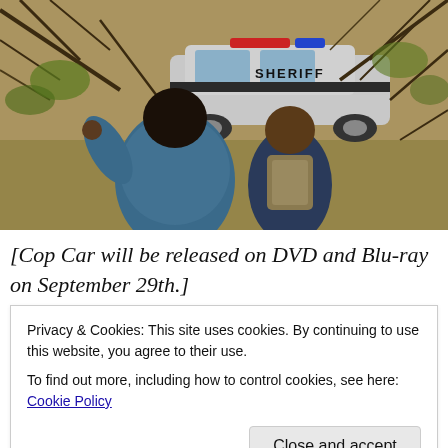[Figure (photo): Two people seen from behind, standing in a wooded area looking at a Sheriff police car through tree branches. One person wears a blue puffer jacket, the other has a backpack.]
[Cop Car will be released on DVD and Blu-ray on September 29th.]
Privacy & Cookies: This site uses cookies. By continuing to use this website, you agree to their use.
To find out more, including how to control cookies, see here: Cookie Policy
town, two young boys stumble upon the titular vehicle.